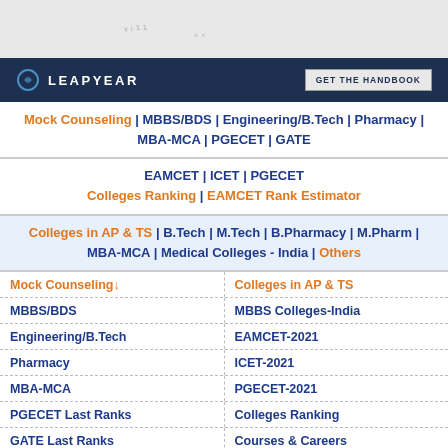[Figure (screenshot): Gray banner area with faint handwritten/decorative text at top]
[Figure (logo): Leapyear dark navy bar with logo circle, LEAPYEAR text, and GET THE HANDBOOK button]
Mock Counseling | MBBS/BDS | Engineering/B.Tech | Pharmacy | MBA-MCA | PGECET | GATE
EAMCET | ICET | PGECET
Colleges Ranking | EAMCET Rank Estimator
Colleges in AP & TS | B.Tech | M.Tech | B.Pharmacy | M.Pharm | MBA-MCA | Medical Colleges - India | Others
| Mock Counseling↓ | Colleges in AP & TS |
| MBBS/BDS | MBBS Colleges-India |
| Engineering/B.Tech | EAMCET-2021 |
| Pharmacy | ICET-2021 |
| MBA-MCA | PGECET-2021 |
| PGECET Last Ranks | Colleges Ranking |
| GATE Last Ranks | Courses & Careers |